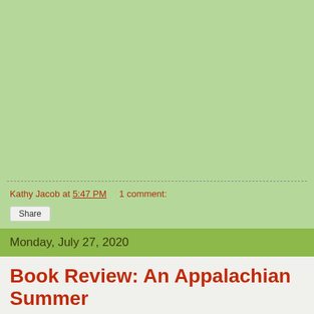Kathy Jacob at 5:47 PM   1 comment:
Share
Monday, July 27, 2020
Book Review: An Appalachian Summer
About the Book